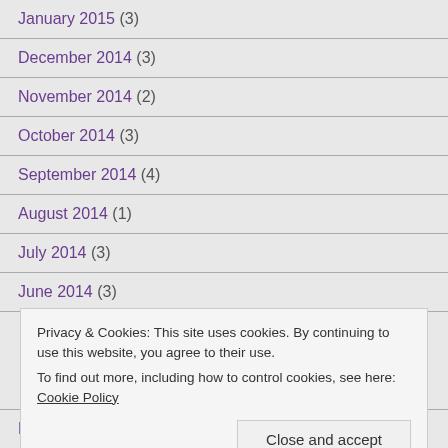January 2015 (3)
December 2014 (3)
November 2014 (2)
October 2014 (3)
September 2014 (4)
August 2014 (1)
July 2014 (3)
June 2014 (3)
Privacy & Cookies: This site uses cookies. By continuing to use this website, you agree to their use. To find out more, including how to control cookies, see here: Cookie Policy
February 2014 (4)